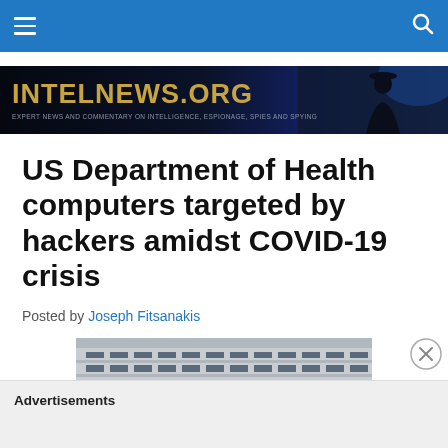intelnews.org navigation bar
[Figure (illustration): intelnews.org banner with gold text logo and dark blue background with silhouette figure on right side. Subtitle: EXPERT NEWS AND COMMENTARY ON INTELLIGENCE, ESPIONAGE, SPIES AND SPYING]
US Department of Health computers targeted by hackers amidst COVID-19 crisis
Posted by Joseph Fitsanakis
[Figure (photo): Photograph of a government building exterior showing concrete architecture with windows and a dark sign/plaque]
Advertisements